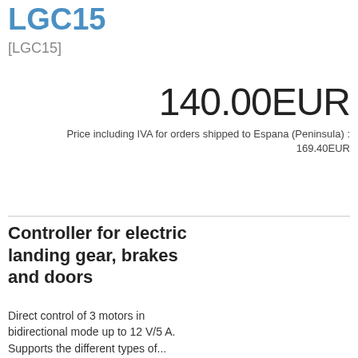LGC15
[LGC15]
140.00EUR
Price including IVA for orders shipped to Espana (Peninsula) : 169.40EUR
Controller for electric landing gear, brakes and doors
Direct control of 3 motors in bidirectional mode up to 12 V/5 A. Supports the different types of...